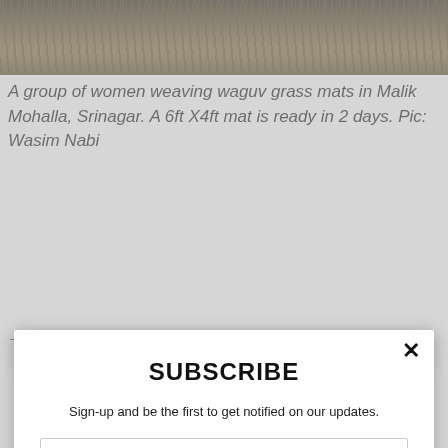[Figure (photo): Partial photo of women weaving waguv grass mats, showing grass/reeds texture at the top of the page]
A group of women weaving waguv grass mats in Malik Mohalla, Srinagar. A 6ft X4ft mat is ready in 2 days. Pic: Wasim Nabi
SUBSCRIBE
Sign-up and be the first to get notified on our updates.
Enter your email
Subscribe Now
powered by MailMunch